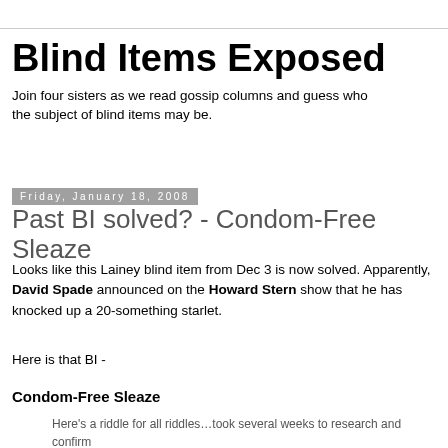Blind Items Exposed
Join four sisters as we read gossip columns and guess who the subject of blind items may be.
Friday, January 18, 2008
Past BI solved? - Condom-Free Sleaze
Looks like this Lainey blind item from Dec 3 is now solved. Apparently, David Spade announced on the Howard Stern show that he has knocked up a 20-something starlet.
Here is that BI -
Condom-Free Sleaze
Here's a riddle for all riddles…took several weeks to research and confirm because the level of atrocity is just so unspeakable. A legendary